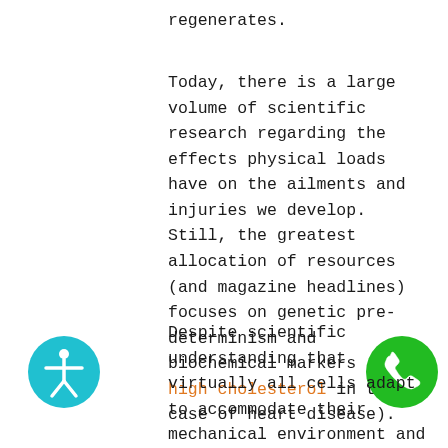regenerates.
Today, there is a large volume of scientific research regarding the effects physical loads have on the ailments and injuries we develop. Still, the greatest allocation of resources (and magazine headlines) focuses on genetic pre-determinism and biochemical markers (like high cholesterol in the case of heart disease).
[Figure (illustration): Teal circle with white accessibility icon (person with outstretched arms)]
[Figure (illustration): Green circle with white phone/call icon]
Despite scientific understanding that virtually all cells adapt to accommodate their mechanical environment and that biochemical signals for genetic expression